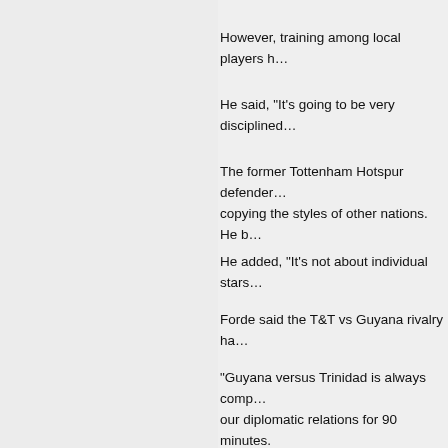However, training among local players h…
He said, "It's going to be very disciplined…
The former Tottenham Hotspur defender… copying the styles of other nations. He b…
He added, "It's not about individual stars…
Forde said the T&T vs Guyana rivalry ha…
"Guyana versus Trinidad is always comp… our diplomatic relations for 90 minutes.
"Guyanese don't like to lose to Trinidad a… going to be an interesting game.
Fenwick has little time to get ready as 20… World Cup qualifying spot.
Guyana was also inactive for most of 20… Georgetown.
"We played no football in 2020 except fo…